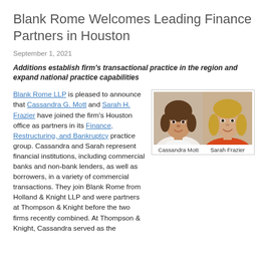Blank Rome Welcomes Leading Finance Partners in Houston
September 1, 2021
Additions establish firm's transactional practice in the region and expand national practice capabilities
Blank Rome LLP is pleased to announce that Cassandra G. Mott and Sarah H. Frazier have joined the firm's Houston office as partners in its Finance, Restructuring, and Bankruptcy practice group. Cassandra and Sarah represent financial institutions, including commercial banks and non-bank lenders, as well as borrowers, in a variety of commercial transactions. They join Blank Rome from Holland & Knight LLP and were partners at Thompson & Knight before the two firms recently combined. At Thompson & Knight, Cassandra served as the
[Figure (photo): Headshots of Cassandra Mott (left) and Sarah Frazier (right), two female attorneys]